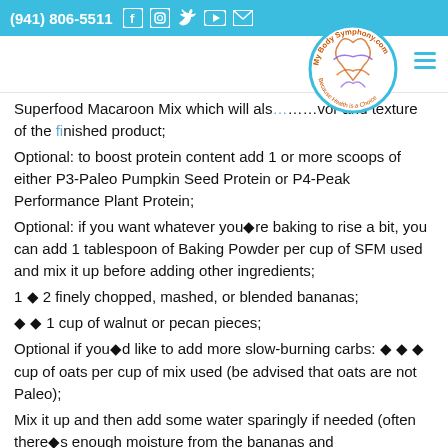(941) 806-5511 [social icons]
[Figure (logo): MyBodySymphony.com circular logo with stylized body figure and text 'Because Health is a Choice']
Superfood Macaroon Mix which will als………vor and texture of the finished product; Optional: to boost protein content add 1 or more scoops of either P3-Paleo Pumpkin Seed Protein or P4-Peak Performance Plant Protein; Optional: if you want whatever you�re baking to rise a bit, you can add 1 tablespoon of Baking Powder per cup of SFM used and mix it up before adding other ingredients; 1 � 2 finely chopped, mashed, or blended bananas; � � 1 cup of walnut or pecan pieces; Optional if you�d like to add more slow-burning carbs: � � � cup of oats per cup of mix used (be advised that oats are not Paleo); Mix it up and then add some water sparingly if needed (often there�s enough moisture from the bananas and carrots depending on how big they are and how many were…